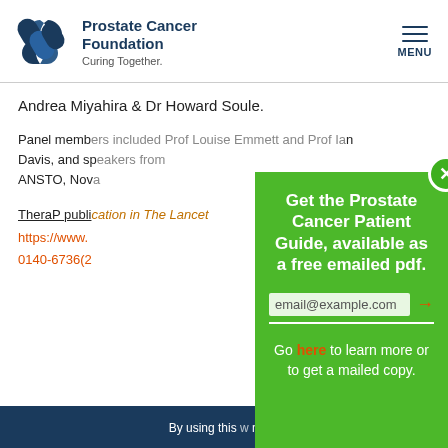[Figure (logo): Prostate Cancer Foundation logo with interlocking chain links icon and text 'Prostate Cancer Foundation, Curing Together.']
Andrea Miyahira & Dr Howard Soule.
Panel members included Prof Louise Emmett and Prof Ian Davis, and speakers from ANSTO, Nova...
TheraP publication in The Lancet https://www.thelancet.com/... 0140-6736(2...
By using this ... more ...
[Figure (infographic): Green modal overlay: 'Get the Prostate Cancer Patient Guide, available as a free emailed pdf.' with email input field and 'Go here to learn more or to get a mailed copy.' with orange close button.]